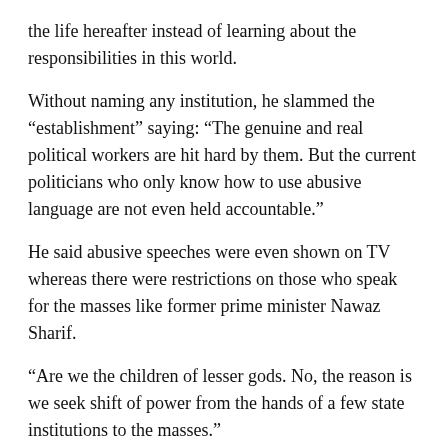the life hereafter instead of learning about the responsibilities in this world.
Without naming any institution, he slammed the “establishment” saying: “The genuine and real political workers are hit hard by them. But the current politicians who only know how to use abusive language are not even held accountable.”
He said abusive speeches were even shown on TV whereas there were restrictions on those who speak for the masses like former prime minister Nawaz Sharif.
“Are we the children of lesser gods. No, the reason is we seek shift of power from the hands of a few state institutions to the masses.”
Mr Rasheed said he and those who were aspiring for the power to the people would not be silenced.